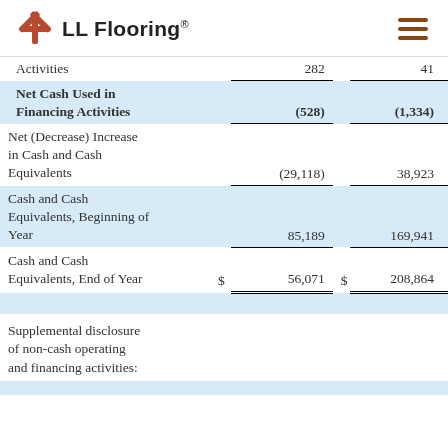[Figure (logo): LL Flooring logo with snowflake-like icon and hamburger menu icon]
| Activities | 282 |  | 41 |
| Net Cash Used in Financing Activities | (528) |  | (1,334) |
| Net (Decrease) Increase in Cash and Cash Equivalents | (29,118) |  | 38,923 |
| Cash and Cash Equivalents, Beginning of Year | 85,189 |  | 169,941 |
| Cash and Cash Equivalents, End of Year | $ | 56,071 | $ | 208,864 |
Supplemental disclosure of non-cash operating and financing activities: